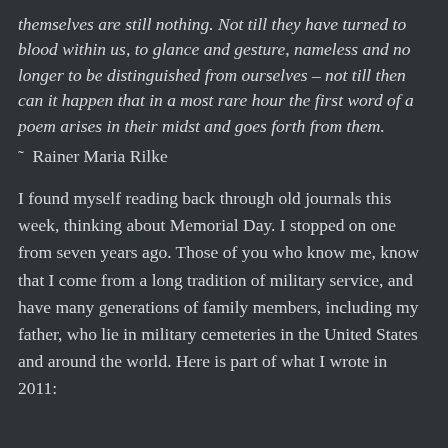themselves are still nothing. Not till they have turned to blood within us, to glance and gesture, nameless and no longer to be distinguished from ourselves – not till then can it happen that in a most rare hour the first word of a poem arises in their midst and goes forth from them.
~ Rainer Maria Rilke
I found myself reading back through old journals this week, thinking about Memorial Day. I stopped on one from seven years ago. Those of you who know me, know that I come from a long tradition of military service, and have many generations of family members, including my father, who lie in military cemeteries in the United States and around the world. Here is part of what I wrote in 2011: